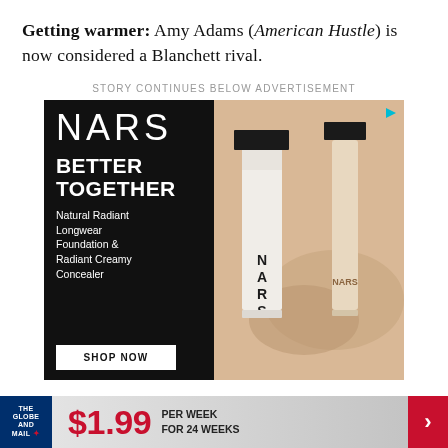Getting warmer: Amy Adams (American Hustle) is now considered a Blanchett rival.
STORY CONTINUES BELOW ADVERTISEMENT
[Figure (photo): NARS advertisement: 'Better Together' featuring Natural Radiant Longwear Foundation & Radiant Creamy Concealer with a 'Shop Now' button. Left side black background with NARS logo and product text; right side beige/tan background with two NARS product bottles.]
$1.99 PER WEEK FOR 24 WEEKS